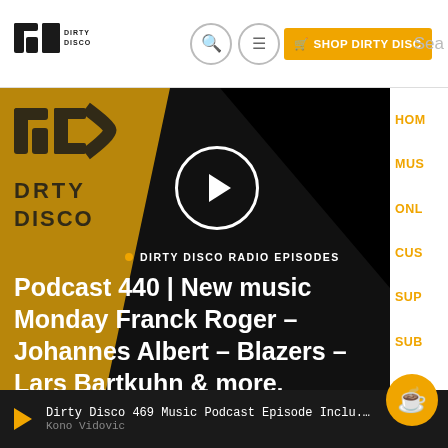Dirty Disco – nav bar with logo, search, menu, SHOP DIRTY DISCO button, Sea(rch)
[Figure (screenshot): Dirty Disco podcast episode cover image with gold and black diagonal background, DD logo, play button circle, category tag DIRTY DISCO RADIO EPISODES, and title text: Podcast 440 | New music Monday Franck Roger – Johannes Albert – Blazers – Lars Bartkuhn & more. Author: KONO VIDOVIC, date: JANUARY 10, 2022, views: 174, likes: 7, stars: 5. Gold underline bar and EPISODE #440 text partially visible.]
Podcast 440 | New music Monday Franck Roger – Johannes Albert – Blazers – Lars Bartkuhn & more.
KONO VIDOVIC   JANUARY 10, 2022   174   7   5
EPISODE #440
Dirty Disco 469 Music Podcast Episode Inclu... Kono Vidovic